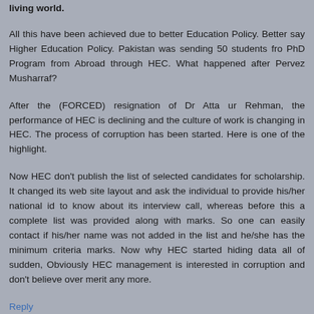living world.
All this have been achieved due to better Education Policy. Better say Higher Education Policy. Pakistan was sending 50 students fro PhD Program from Abroad through HEC. What happened after Pervez Musharraf?
After the (FORCED) resignation of Dr Atta ur Rehman, the performance of HEC is declining and the culture of work is changing in HEC. The process of corruption has been started. Here is one of the highlight.
Now HEC don't publish the list of selected candidates for scholarship. It changed its web site layout and ask the individual to provide his/her national id to know about its interview call, whereas before this a complete list was provided along with marks. So one can easily contact if his/her name was not added in the list and he/she has the minimum criteria marks. Now why HEC started hiding data all of sudden, Obviously HEC management is interested in corruption and don't believe over merit any more.
Reply